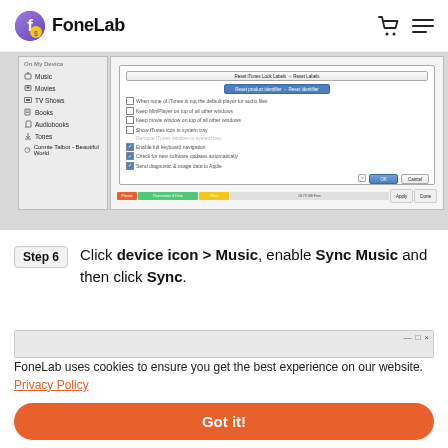FoneLab
[Figure (screenshot): iTunes preferences dialog screenshot showing various checkboxes and settings options, with a sidebar showing On My Device items including Music, Movies, TV Shows, Books, Audiobooks, Tones, and Connie Talbot - Beautiful World. Bottom bar shows storage segments.]
Step 6   Click device icon > Music, enable Sync Music and then click Sync.
[Figure (screenshot): Partial screenshot of iTunes interface showing the top window bar area]
FoneLab uses cookies to ensure you get the best experience on our website. Privacy Policy
Got it!